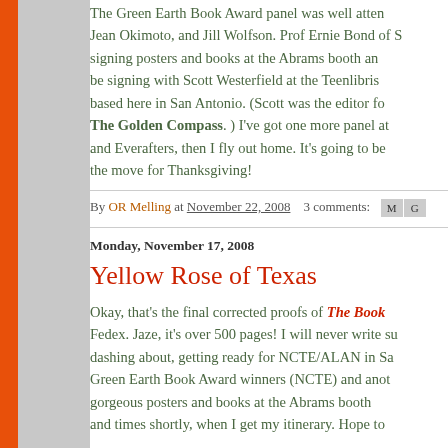The Green Earth Book Award panel was well attended — Jean Okimoto, and Jill Wolfson. Prof Ernie Bond of signing posters and books at the Abrams booth and be signing with Scott Westerfield at the Teenlibris based here in San Antonio. (Scott was the editor for The Golden Compass. ) I've got one more panel at and Everafters, then I fly out home. It's going to be the move for Thanksgiving!
By OR Melling at November 22, 2008   3 comments:
Monday, November 17, 2008
Yellow Rose of Texas
Okay, that's the final corrected proofs of The Book Fedex. Jaze, it's over 500 pages! I will never write su dashing about, getting ready for NCTE/ALAN in Sa Green Earth Book Award winners (NCTE) and anot gorgeous posters and books at the Abrams booth and times shortly, when I get my itinerary. Hope to